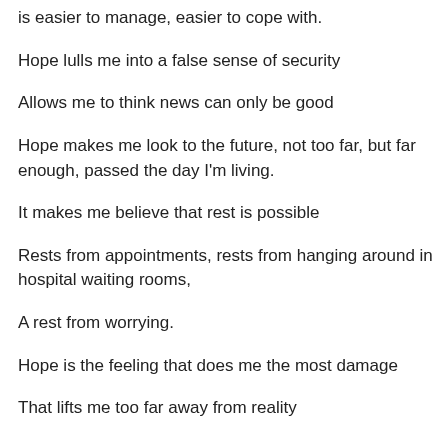is easier to manage, easier to cope with.
Hope lulls me into a false sense of security
Allows me to think news can only be good
Hope makes me look to the future, not too far, but far enough, passed the day I'm living.
It makes me believe that rest is possible
Rests from appointments, rests from hanging around in hospital waiting rooms,
A rest from worrying.
Hope is the feeling that does me the most damage
That lifts me too far away from reality